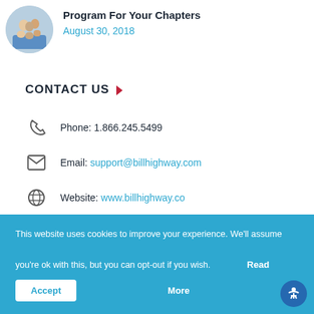[Figure (photo): Circular thumbnail photo of people working together]
Program For Your Chapters
August 30, 2018
CONTACT US
Phone: 1.866.245.5499
Email: support@billhighway.com
Website: www.billhighway.co
This website uses cookies to improve your experience. We'll assume you're ok with this, but you can opt-out if you wish.
Accept
Read More